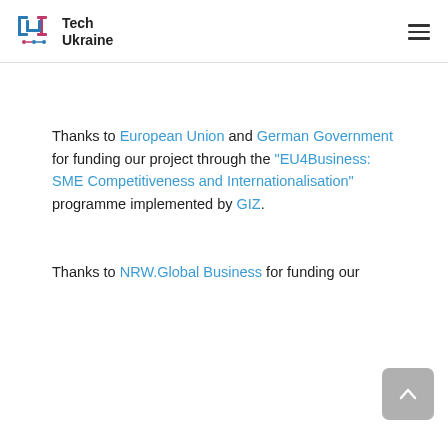Tech Ukraine
Thanks to European Union and German Government for funding our project through the "EU4Business: SME Competitiveness and Internationalisation" programme implemented by GIZ.
Thanks to NRW.Global Business for funding our